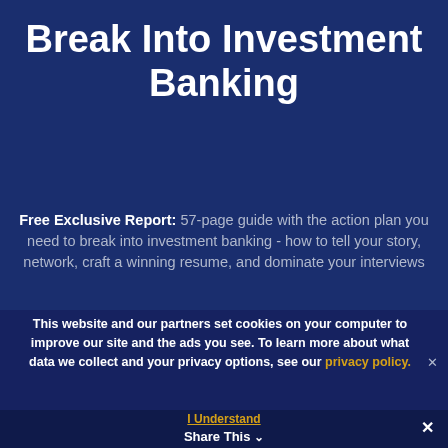Break Into Investment Banking
Free Exclusive Report: 57-page guide with the action plan you need to break into investment banking - how to tell your story, network, craft a winning resume, and dominate your interviews
This website and our partners set cookies on your computer to improve our site and the ads you see. To learn more about what data we collect and your privacy options, see our privacy policy.
I Understand
Share This